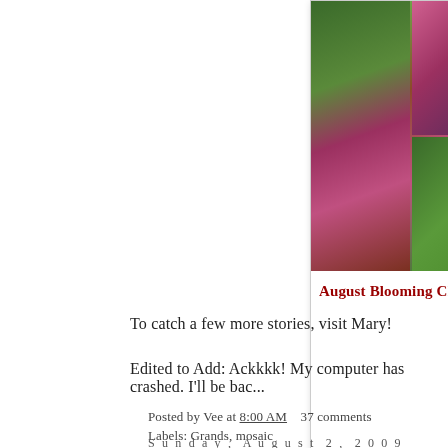[Figure (photo): Blog post card showing a photo collage of Christmas cactus flowers blooming in August, with a red title 'August Blooming Christ...' partially visible]
To catch a few more stories, visit Mary!
Edited to Add: Ackkkk! My computer has crashed. I'll be bac...
Posted by Vee at 8:00 AM    37 comments
Labels: Grands, mosaic
Sunday, August 2, 2009